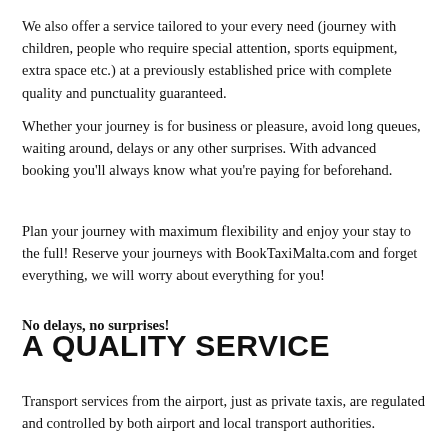We also offer a service tailored to your every need (journey with children, people who require special attention, sports equipment, extra space etc.) at a previously established price with complete quality and punctuality guaranteed.
Whether your journey is for business or pleasure, avoid long queues, waiting around, delays or any other surprises. With advanced booking you'll always know what you're paying for beforehand.
Plan your journey with maximum flexibility and enjoy your stay to the full! Reserve your journeys with BookTaxiMalta.com and forget everything, we will worry about everything for you!
No delays, no surprises!
A QUALITY SERVICE
Transport services from the airport, just as private taxis, are regulated and controlled by both airport and local transport authorities.
Operating without their permission will result in a heavy fine for the